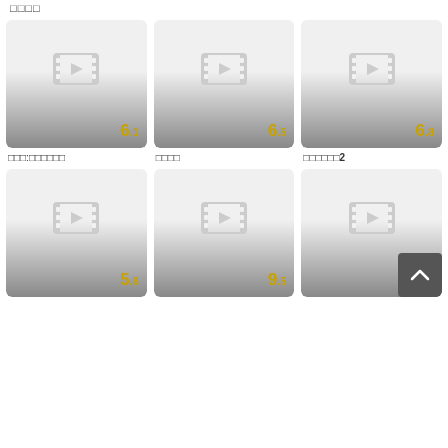□□□□
[Figure (screenshot): Movie card with film icon and score 6.1]
[Figure (screenshot): Movie card with film icon and score 6.5]
[Figure (screenshot): Movie card with film icon and score 6.8]
□□□:□□□□□□
□□□□
□□□□□□2
[Figure (screenshot): Movie card with film icon and score 5.8]
[Figure (screenshot): Movie card with film icon and score 9.5]
[Figure (screenshot): Movie card with film icon and score 8.3]